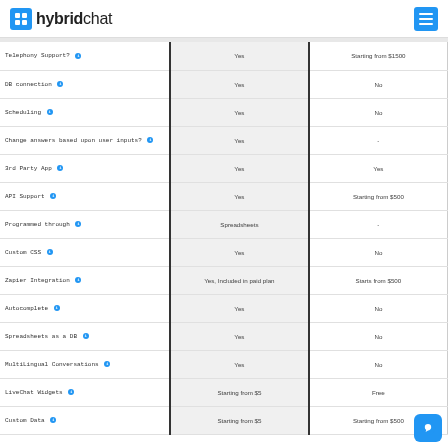hybridchat logo and navigation
| Feature | HybridChat | Competitor |
| --- | --- | --- |
| Telephony Support? | Yes | Starting from $1500 |
| DB connection | Yes | No |
| Scheduling | Yes | No |
| Change answers based upon user inputs? | Yes | - |
| 3rd Party App | Yes | Yes |
| API Support | Yes | Starting from $500 |
| Programmed through | Spreadsheets | - |
| Custom CSS | Yes | No |
| Zapier Integration | Yes, Included in paid plan | Starts from $500 |
| Autocomplete | Yes | No |
| Spreadsheets as a DB | Yes | No |
| MultiLingual Conversations | Yes | No |
| LiveChat Widgets | Starting from $5 | Free |
| Custom Data | Starting from $5 | Starting from $500 |